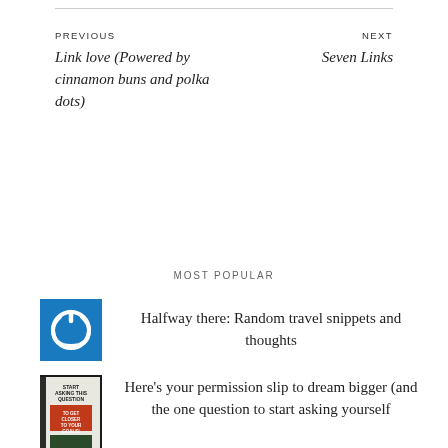PREVIOUS
Link love (Powered by cinnamon buns and polka dots)
NEXT
Seven Links
MOST POPULAR
[Figure (logo): Blue square with white power button icon]
Halfway there: Random travel snippets and thoughts
[Figure (photo): Book cover: Start Asking This Question to get closer to your goals]
Here's your permission slip to dream bigger (and the one question to start asking yourself